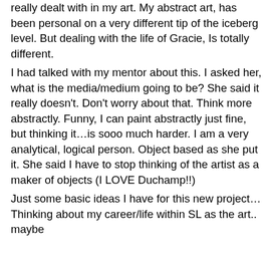really dealt with in my art. My abstract art, has been personal on a very different tip of the iceberg level. But dealing with the life of Gracie, Is totally different.
I had talked with my mentor about this. I asked her, what is the media/medium going to be? She said it really doesn't. Don't worry about that. Think more abstractly. Funny, I can paint abstractly just fine, but thinking it…is sooo much harder. I am a very analytical, logical person. Object based as she put it. She said I have to stop thinking of the artist as a maker of objects (I LOVE Duchamp!!)
Just some basic ideas I have for this new project… Thinking about my career/life within SL as the art.. maybe